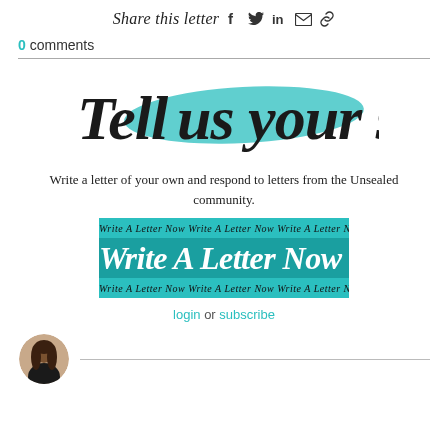Share this letter
0 comments
[Figure (illustration): Tell us your story - handwritten style text with teal brush stroke highlight behind 'us your']
Write a letter of your own and respond to letters from the Unsealed community.
[Figure (illustration): Write A Letter Now button with teal background, handwritten script text repeated as pattern above and below]
login or subscribe
[Figure (photo): Circular avatar photo of a woman with dark hair wearing a black top]